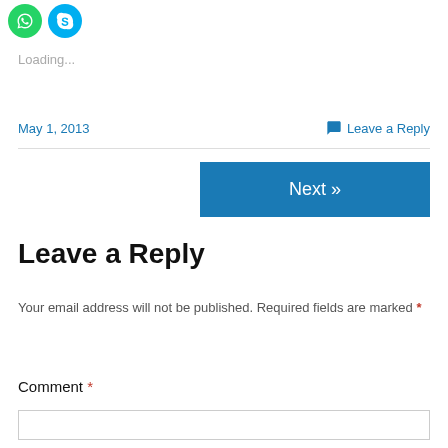[Figure (illustration): Social media share icon buttons — WhatsApp (green circle) and Skype (blue circle) visible at top left]
Loading...
May 1, 2013
💬 Leave a Reply
[Figure (other): Blue 'Next »' navigation button]
Leave a Reply
Your email address will not be published. Required fields are marked *
Comment *